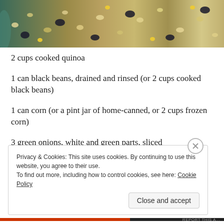[Figure (photo): Close-up photo of a food dish showing cooked quinoa with black beans, corn kernels, and other ingredients in a bowl.]
2 cups cooked quinoa
1 can black beans, drained and rinsed (or 2 cups cooked black beans)
1 can corn (or a pint jar of home-canned, or 2 cups frozen corn)
3 green onions, white and green parts, sliced
1/2 cup salsa (how hot is your choice, as is whether you buy it
Privacy & Cookies: This site uses cookies. By continuing to use this website, you agree to their use.
To find out more, including how to control cookies, see here: Cookie Policy
Close and accept